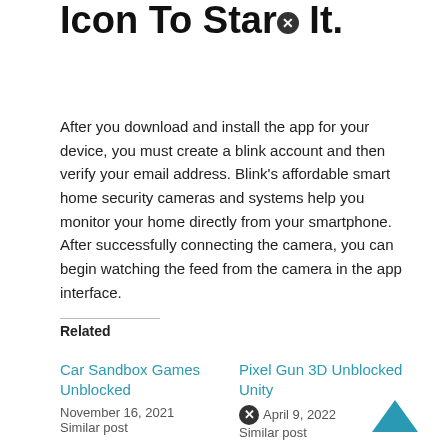Icon To Start It.
After you download and install the app for your device, you must create a blink account and then verify your email address. Blink's affordable smart home security cameras and systems help you monitor your home directly from your smartphone. After successfully connecting the camera, you can begin watching the feed from the camera in the app interface.
Related
Car Sandbox Games Unblocked — November 16, 2021 — Similar post
Pixel Gun 3D Unblocked Unity — April 9, 2022 — Similar post